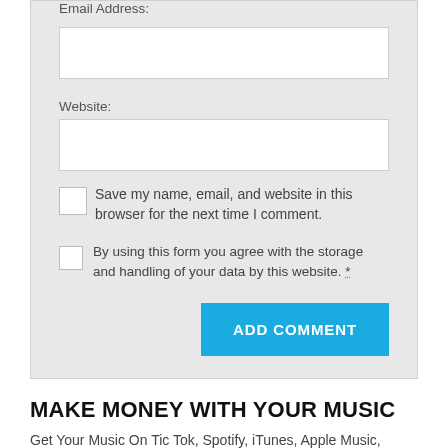Email Address:
[Figure (other): Text input field for email address]
Website:
[Figure (other): Text input field for website]
Save my name, email, and website in this browser for the next time I comment.
By using this form you agree with the storage and handling of your data by this website. *
ADD COMMENT
MAKE MONEY WITH YOUR MUSIC
Get Your Music On Tic Tok, Spotify, iTunes, Apple Music, Pandora